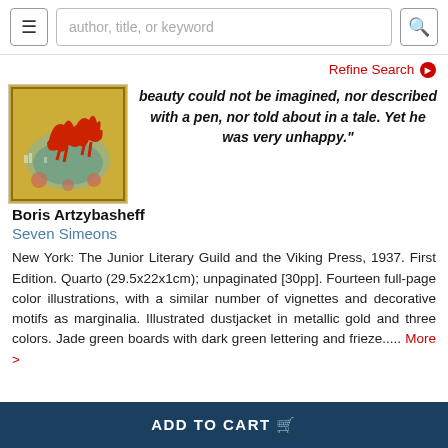author, title, or keyword
Refine Search
[Figure (photo): Book cover illustration showing red horse-like creatures on a decorative background with gold and teal colors]
beauty could not be imagined, nor described with a pen, nor told about in a tale. Yet he was very unhappy."
Boris Artzybasheff
Seven Simeons
New York: The Junior Literary Guild and the Viking Press, 1937. First Edition. Quarto (29.5x22x1cm); unpaginated [30pp]. Fourteen full-page color illustrations, with a similar number of vignettes and decorative motifs as marginalia. Illustrated dustjacket in metallic gold and three colors. Jade green boards with dark green lettering and frieze..... More >
ADD TO CART